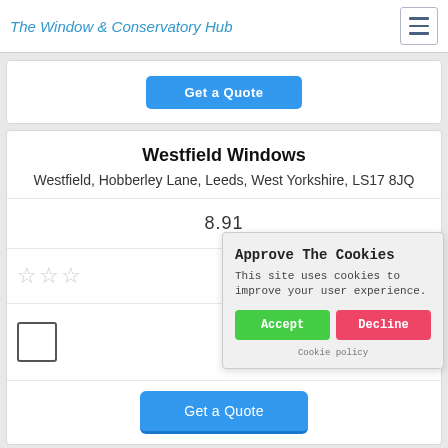The Window & Conservatory Hub
Westfield Windows
Westfield, Hobberley Lane, Leeds, West Yorkshire, LS17 8JQ
8.91
[Figure (other): Star rating display showing approximately 2 out of 5 stars (grey/empty stars)]
[Figure (other): Map placeholder icon]
Get a Quote
Approve The Cookies
This site uses cookies to improve your user experience.
Accept
Decline
Cookie policy